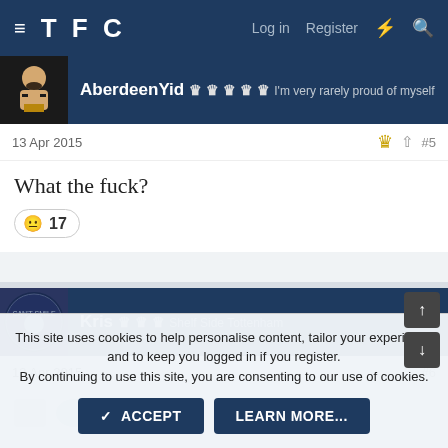TFC  Log in  Register
[Figure (screenshot): User avatar for AberdeenYid - pixelated face with beard icon]
AberdeenYid 🏆🏆🏆🏆🏆 I'm very rarely proud of myself
13 Apr 2015  #5
What the fuck?
😐 17
[Figure (screenshot): User avatar for Kris - circular badge style logo]
Kris 🏆🏆🏆 Shelf Side Tottenham
13 Apr 2015  #6
This site uses cookies to help personalise content, tailor your experience and to keep you logged in if you register. By continuing to use this site, you are consenting to our use of cookies.
✓ ACCEPT   LEARN MORE...